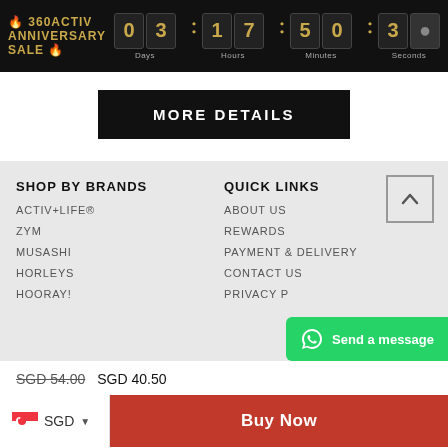🔥 360ACTIV ANNIVERSARY SALE 🔥  03 Days  17 Hours  50 Minutes  3 Seconds
MORE DETAILS
SHOP BY BRANDS
QUICK LINKS
ACTIV+LIFE®
ZYM
MUSASHI
HORLEYS
HOORAY!
ABOUT US
REWARDS
PAYMENT & DELIVERY
CONTACT US
PRIVACY P...
SGD 54.00  SGD 40.50
SGD ▼  Buy Now